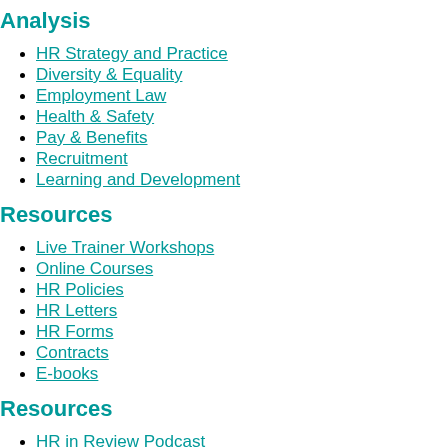Analysis
HR Strategy and Practice
Diversity & Equality
Employment Law
Health & Safety
Pay & Benefits
Recruitment
Learning and Development
Resources
Live Trainer Workshops
Online Courses
HR Policies
HR Letters
HR Forms
Contracts
E-books
Resources
HR in Review Podcast